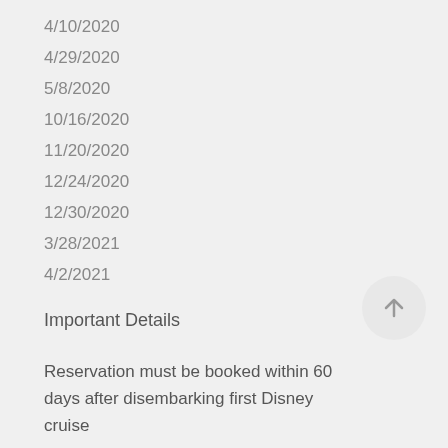4/10/2020
4/29/2020
5/8/2020
10/16/2020
11/20/2020
12/24/2020
12/30/2020
3/28/2021
4/2/2021
Important Details
Reservation must be booked within 60 days after disembarking first Disney cruise
Cruise must commence within 22 months from time of booking
Limited to one booking per first time cruiser